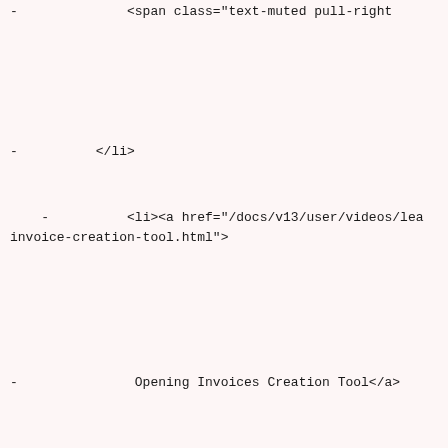- <span class="text-muted pull-right
-         </li>
-         <li><a href="/docs/v13/user/videos/lea invoice-creation-tool.html">
-                 Opening Invoices Creation Tool</a>
-                 <span class="text-muted pull-right
-         </li>
-         <li><a href="/docs/v13/user/videos/lea account.html">
-                 Email Account</a>
-                 <span class="text-muted pull-right
-         </li>